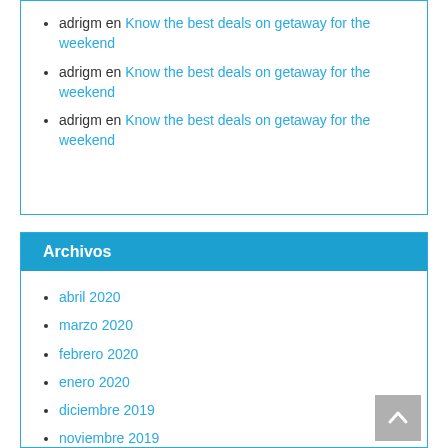adrigm en Know the best deals on getaway for the weekend
adrigm en Know the best deals on getaway for the weekend
adrigm en Know the best deals on getaway for the weekend
Archivos
abril 2020
marzo 2020
febrero 2020
enero 2020
diciembre 2019
noviembre 2019
octubre 2019